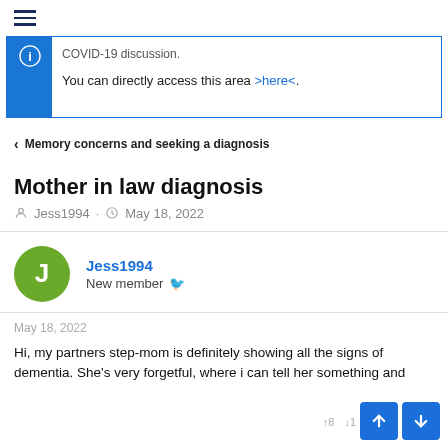☰ (hamburger menu)
COVID-19 discussion.
You can directly access this area >here<.
< Memory concerns and seeking a diagnosis
Mother in law diagnosis
Jess1994 · May 18, 2022
Jess1994
New member
May 18, 2022
Hi, my partners step-mom is definitely showing all the signs of dementia. She's very forgetful, where i can tell her something and